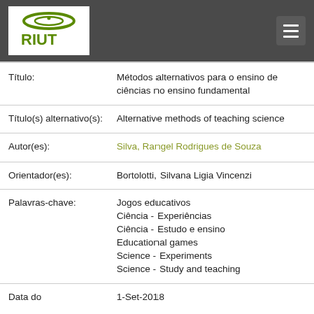[Figure (logo): RIUT repository logo with green oval/dish shape and green bold text RIUT]
| Título: | Métodos alternativos para o ensino de ciências no ensino fundamental |
| Título(s) alternativo(s): | Alternative methods of teaching science |
| Autor(es): | Silva, Rangel Rodrigues de Souza |
| Orientador(es): | Bortolotti, Silvana Ligia Vincenzi |
| Palavras-chave: | Jogos educativos
Ciência - Experiências
Ciência - Estudo e ensino
Educational games
Science - Experiments
Science - Study and teaching |
| Data do | 1-Set-2018 |